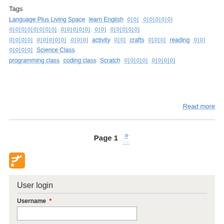Tags
Language Plus Living Space  learn English  이  이이이이  이이이이이이이  이이이이  이이  이이이이  이이이이  이이이이  이이이  activity  이이  crafts  이이이  reading  이이  이이이이  Science Class  programming class  coding class  Scratch  이이이이  이이이이
Read more
Page 1  »
[Figure (logo): RSS feed orange icon]
User login
Username *
Password *